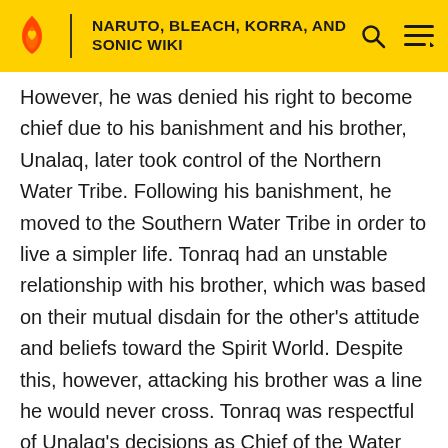NARUTO, BLEACH, KORRA, AND SONIC WIKI
However, he was denied his right to become chief due to his banishment and his brother, Unalaq, later took control of the Northern Water Tribe. Following his banishment, he moved to the Southern Water Tribe in order to live a simpler life. Tonraq had an unstable relationship with his brother, which was based on their mutual disdain for the other's attitude and beliefs toward the Spirit World. Despite this, however, attacking his brother was a line he would never cross. Tonraq was respectful of Unalaq's decisions as Chief of the Water Tribe, but this changed when he learned his brother was responsible for his banishment, and he resolved to fight against the northern invasion of the south. Although he denounced his family ties to his brother after being betrayed by him, Tonraq could not so easily follow up on his word and still referred